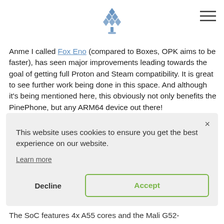[Pine64 logo and hamburger menu]
Anme I called Fox Eno (compared to Boxes, OPK aims to be faster), has seen major improvements leading towards the goal of getting full Proton and Steam compatibility. It is great to see further work being done in this space. And although it's being mentioned here, this obviously not only benefits the PinePhone, but any ARM64 device out there!
This website uses cookies to ensure you get the best experience on our website.
Learn more
Decline
Accept
The SoC features 4x A55 cores and the Mali G52-